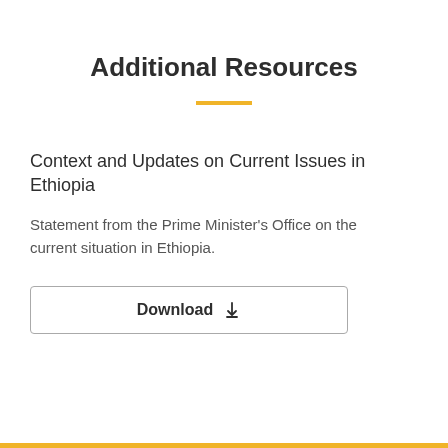Additional Resources
Context and Updates on Current Issues in Ethiopia
Statement from the Prime Minister's Office on the current situation in Ethiopia.
Download